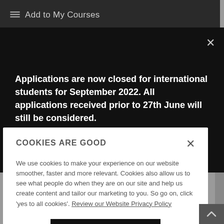Add to My Courses
Applications are now closed for international students for September 2022. All applications received prior to 27th June will still be considered.
COOKIES ARE GOOD
We use cookies to make your experience on our website smoother, faster and more relevant. Cookies also allow us to see what people do when they are on our site and help us create content and tailor our marketing to you. So go on, click 'yes to all cookies'. Review our Website Privacy Policy
Yes to all cookies